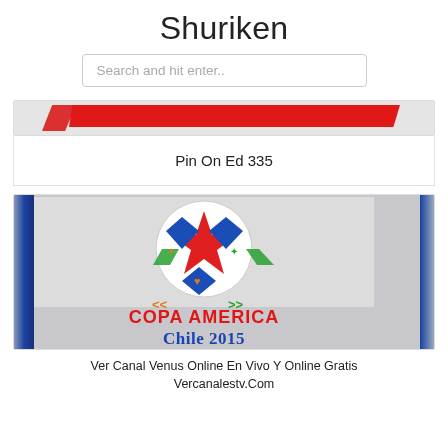Shuriken
Search and hit enter..
[Figure (illustration): Red banner/bar graphic on grey background]
Pin On Ed 335
[Figure (photo): Copa América Chile 2015 logo image with colorful star emblem and text 'COPA AMÉRICA Chile 2015', blue side bars visible]
Ver Canal Venus Online En Vivo Y Online Gratis Vercanalestv.Com